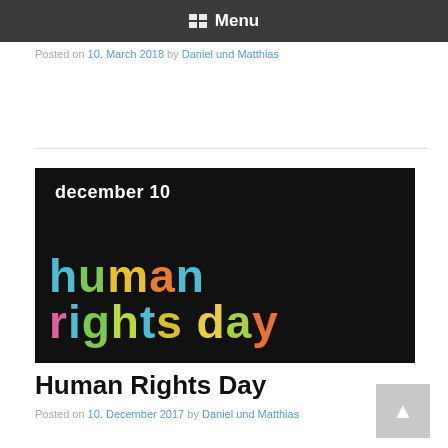Menu
Posted on 10. March 2018 by Daniel und Matthias
[Figure (illustration): Human Rights Day promotional image with black background. Text reads 'december 10' at top in white, and 'human rights day' in large multicolored letters below.]
Human Rights Day
Posted on 10. December 2017 by Daniel und Matthias